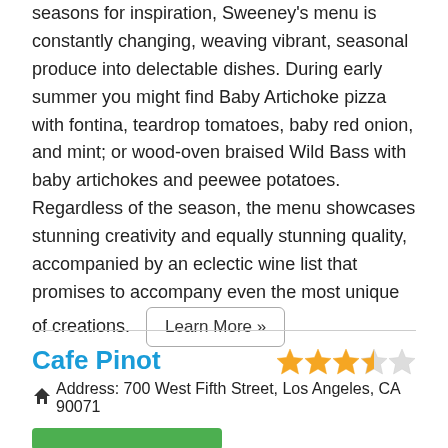seasons for inspiration, Sweeney's menu is constantly changing, weaving vibrant, seasonal produce into delectable dishes. During early summer you might find Baby Artichoke pizza with fontina, teardrop tomatoes, baby red onion, and mint; or wood-oven braised Wild Bass with baby artichokes and peewee potatoes. Regardless of the season, the menu showcases stunning creativity and equally stunning quality, accompanied by an eclectic wine list that promises to accompany even the most unique of creations. Learn More »
Cafe Pinot
Address: 700 West Fifth Street, Los Angeles, CA  90071